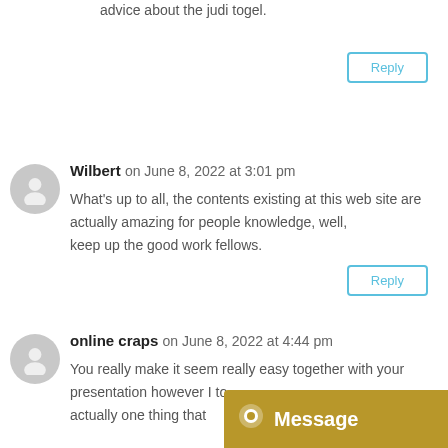advice about the judi togel.
Reply
Wilbert on June 8, 2022 at 3:01 pm
What's up to all, the contents existing at this web site are actually amazing for people knowledge, well, keep up the good work fellows.
Reply
online craps on June 8, 2022 at 4:44 pm
You really make it seem really easy together with your presentation however I to actually one thing that
[Figure (infographic): Gold/yellow Message button bar with chat icon and 'Message' text]